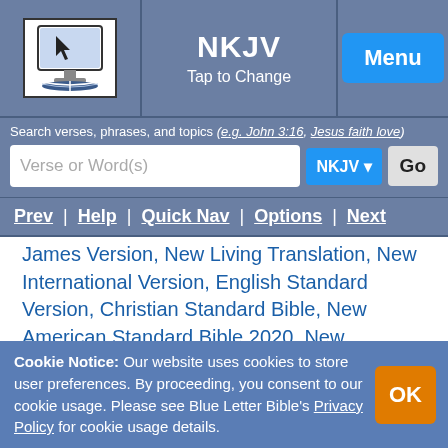NKJV | Tap to Change | Menu
Search verses, phrases, and topics (e.g. John 3:16, Jesus faith love)
Verse or Word(s)  NKJV  Go
Prev | Help | Quick Nav | Options | Next
James Version, New Living Translation, New International Version, English Standard Version, Christian Standard Bible, New American Standard Bible 2020, New American Standard Bible 1995, Legacy Standard Bible 2021, New English Translation, Revised Standard Version, American Standard Version, Young's Literal Translation, Darby Translation, Webster's Bible, Hebrew Names Version, Reina-Valera 1960, Latin Vulgate, Westminster Leningrad Codex, Septuagint, Morphological Greek New Testament, and Textus Receptus.
Cookie Notice: Our website uses cookies to store user preferences. By proceeding, you consent to our cookie usage. Please see Blue Letter Bible's Privacy Policy for cookie usage details.